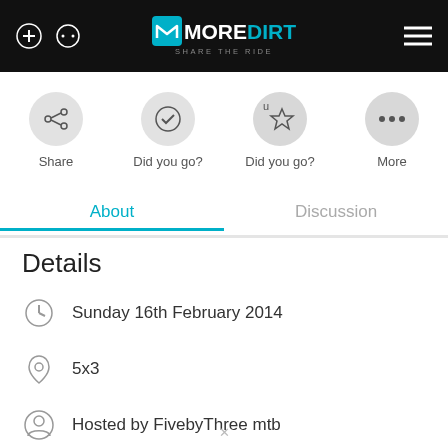MOREDIRT - SHARE THE RIDE
[Figure (screenshot): Action buttons row with Share, Did you go? (checkmark), Did you go? (star with u), and More icons]
About | Discussion (tabs)
Details
Sunday 16th February 2014
5x3
Hosted by FivebyThree mtb
fivebythreemtb.com